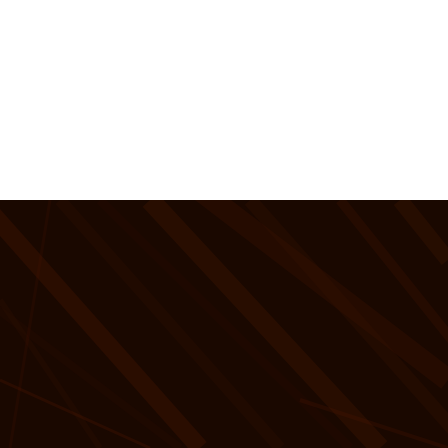[Figure (photo): Top half is white/blank. Bottom half is a dark brown textured background with diagonal light streaks, overlaid with bold white serif text.]
Join over 6,000 of the world's best visual journalists.